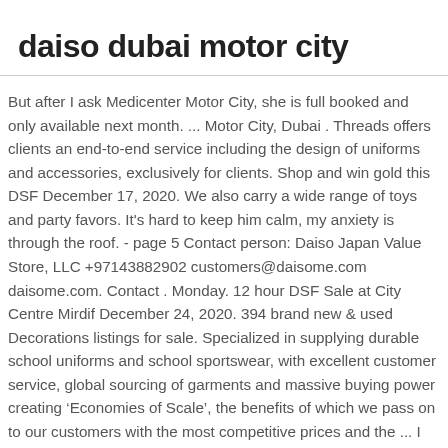daiso dubai motor city
But after I ask Medicenter Motor City, she is full booked and only available next month. ... Motor City, Dubai . Threads offers clients an end-to-end service including the design of uniforms and accessories, exclusively for clients. Shop and win gold this DSF December 17, 2020. We also carry a wide range of toys and party favors. It's hard to keep him calm, my anxiety is through the roof. - page 5 Contact person: Daiso Japan Value Store, LLC +97143882902 customers@daisome.com daisome.com. Contact . Monday. 12 hour DSF Sale at City Centre Mirdif December 24, 2020. 394 brand new & used Decorations listings for sale. Specialized in supplying durable school uniforms and school sportswear, with excellent customer service, global sourcing of garments and massive buying power creating ‘Economies of Scale’, the benefits of which we pass on to our customers with the most competitive prices and the ... I